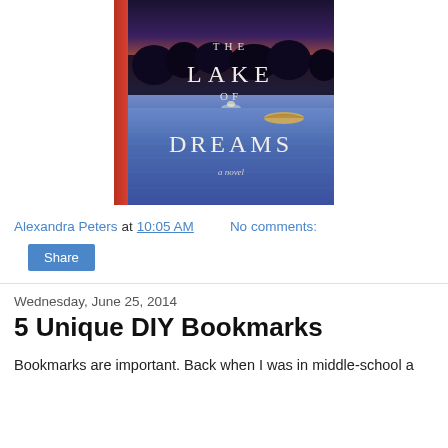[Figure (photo): Book cover of 'The Lake of Dreams – a novel' with a twilight lake scene, trees silhouetted against a sunset sky, and a small boat on the water. Red spine visible on the left.]
Alexandra Peters at 10:05 AM    No comments:
Share
Wednesday, June 25, 2014
5 Unique DIY Bookmarks
Bookmarks are important. Back when I was in middle-school a